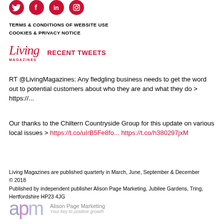[Figure (other): Social media icons: Twitter, Facebook, LinkedIn, Instagram in red circles]
TERMS & CONDITIONS OF WEBSITE USE
COOKIES & PRIVACY NOTICE
[Figure (logo): Living Magazines logo with script and RECENT TWEETS label in red]
RT @LivingMagazines: Any fledgling business needs to get the word out to potential customers about who they are and what they do > https://...
Our thanks to the Chiltern Countryside Group for this update on various local issues > https://t.co/uIrB5Fe8fo... https://t.co/h380297jxM
Living Magazines are published quarterly in March, June, September & December © 2018
Published by independent publisher Alison Page Marketing, Jubilee Gardens, Tring, Hertfordshire HP23 4JG
[Figure (logo): Alison Page Marketing logo - apm letters in soft colors with tagline 'Your key to positive growth']